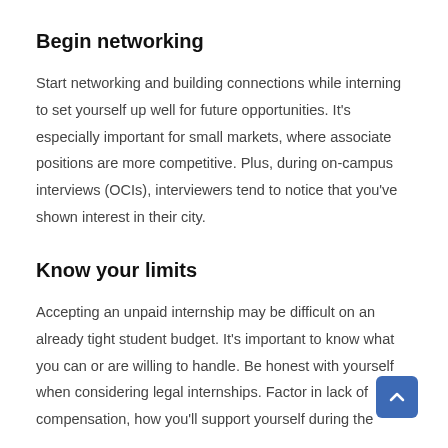Begin networking
Start networking and building connections while interning to set yourself up well for future opportunities. It's especially important for small markets, where associate positions are more competitive. Plus, during on-campus interviews (OCIs), interviewers tend to notice that you've shown interest in their city.
Know your limits
Accepting an unpaid internship may be difficult on an already tight student budget. It's important to know what you can or are willing to handle. Be honest with yourself when considering legal internships. Factor in lack of compensation, how you'll support yourself during the